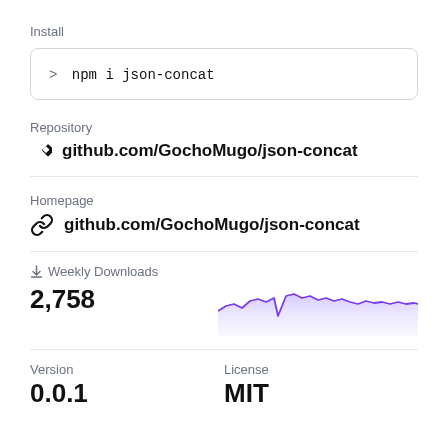Install
> npm i json-concat
Repository
github.com/GochoMugo/json-concat
Homepage
github.com/GochoMugo/json-concat
Weekly Downloads
2,758
[Figure (area-chart): Area chart of weekly downloads showing approximately 2,758 downloads, with a purple filled area and line]
Version
License
0.0.1
MIT